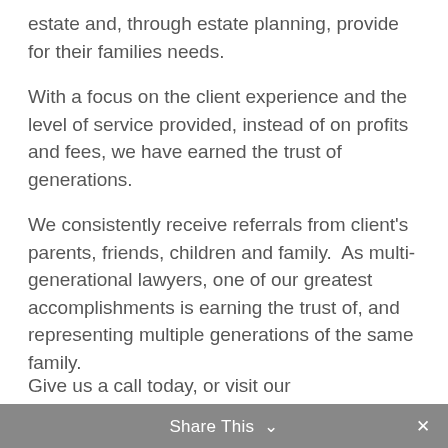estate and, through estate planning, provide for their families needs.
With a focus on the client experience and the level of service provided, instead of on profits and fees, we have earned the trust of generations.
We consistently receive referrals from client's parents, friends, children and family.  As multi-generational lawyers, one of our greatest accomplishments is earning the trust of, and representing multiple generations of the same family.
Share This ∨  ✕
Give us a call today, or visit our